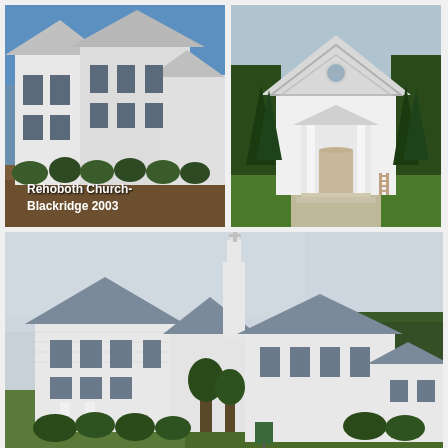[Figure (photo): Photograph of Rehoboth Church-Blackridge 2003, a white church building with columns and shrubs in front, text overlay reads 'Rehoboth Church- Blackridge 2003']
[Figure (photo): Photograph of a white traditional church building with a triangular gabled entrance, steps, and tall evergreen trees on either side]
[Figure (photo): Photograph of a large white church complex with a steeple, multiple connected buildings, and landscaped grounds with shrubs and trees]